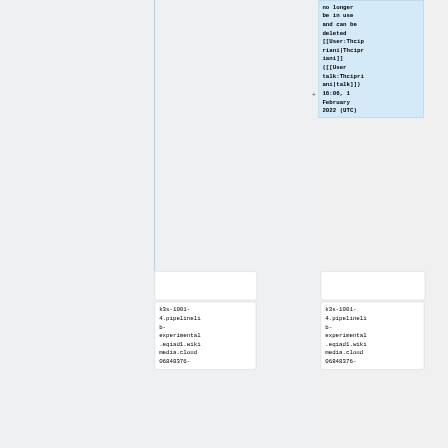no longer be in use and can be deleted [[User:Thcipriani|Thcipriani]] ([[User talk:Thcipriani|talk]]) 16:06, 1 February 2022 (UTC)
k3s-1001-4.pipelinelib-experimental.eqiad1.wikimedia.cloud 06848376-
k3s-1001-4.pipelinelib-experimental.eqiad1.wikimedia.cloud 06848376-